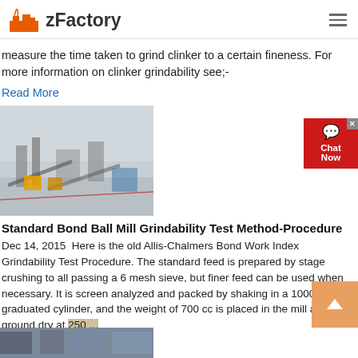zFactory
measure the time taken to grind clinker to a certain fineness. For more information on clinker grindability see;-
Read More
[Figure (photo): Aerial view of an industrial quarry or mining/crushing site with equipment and conveyor belts in a snowy environment]
Standard Bond Ball Mill Grindability Test Method-Procedure
Dec 14, 2015  Here is the old Allis-Chalmers Bond Work Index Grindability Test Procedure. The standard feed is prepared by stage crushing to all passing a 6 mesh sieve, but finer feed can be used when necessary. It is screen analyzed and packed by shaking in a 1000-cc graduated cylinder, and the weight of 700 cc is placed in the mill and ground dry at 250 ...
Read More
[Figure (photo): Partial view of another article image at the bottom of the page]